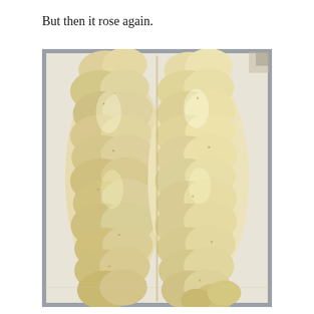But then it rose again.
[Figure (photo): Two braided bread loaves, raw and proofed, showing significant rise, sitting on parchment paper on a baking sheet. The dough is pale/creamy colored, glossy from egg wash or oil, with visible braiding pattern and speckled with herbs. The loaves are large and puffy, filling the tray.]